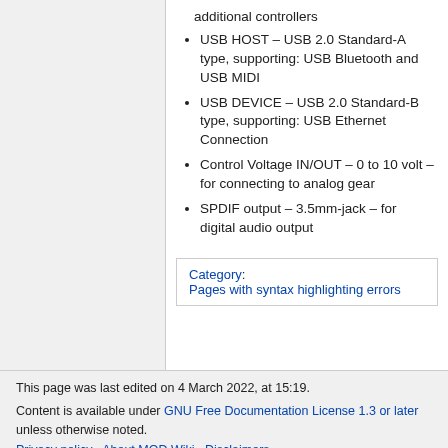additional controllers
USB HOST – USB 2.0 Standard-A type, supporting: USB Bluetooth and USB MIDI
USB DEVICE – USB 2.0 Standard-B type, supporting: USB Ethernet Connection
Control Voltage IN/OUT – 0 to 10 volt – for connecting to analog gear
SPDIF output – 3.5mm-jack – for digital audio output
Category: Pages with syntax highlighting errors
This page was last edited on 4 March 2022, at 15:19. Content is available under GNU Free Documentation License 1.3 or later unless otherwise noted. Privacy policy · About MOD Wiki · Disclaimers